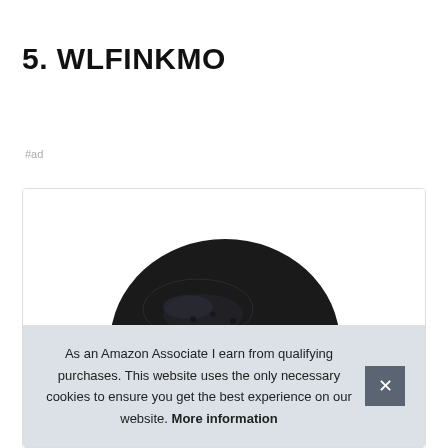5. WLFINKMO
#ad
[Figure (photo): Product photo showing a dark-colored round pan or bowl, partially visible, centered in a white product card with a thin border.]
As an Amazon Associate I earn from qualifying purchases. This website uses the only necessary cookies to ensure you get the best experience on our website. More information